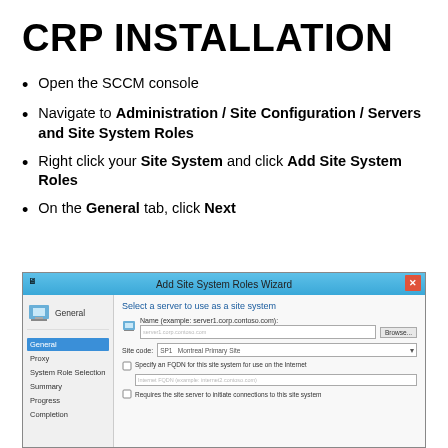CRP INSTALLATION
Open the SCCM console
Navigate to Administration / Site Configuration / Servers and Site System Roles
Right click your Site System and click Add Site System Roles
On the General tab, click Next
[Figure (screenshot): Windows dialog: Add Site System Roles Wizard showing the General tab with a navigation panel on the left (General, Proxy, System Role Selection, Summary, Progress, Completion) and a form on the right to select a server to use as a site system, including Name field, Site code dropdown showing Montreal Primary Site, FQDN checkbox, and a checkbox for requiring the site server to initiate connections.]